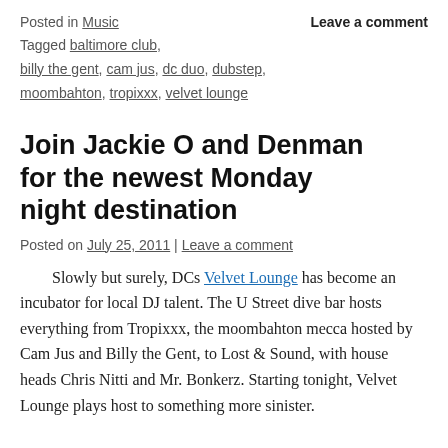Posted in Music    Leave a comment
Tagged baltimore club, billy the gent, cam jus, dc duo, dubstep, moombahton, tropixxx, velvet lounge
Join Jackie O and Denman for the newest Monday night destination
Posted on July 25, 2011 | Leave a comment
Slowly but surely, DCs Velvet Lounge has become an incubator for local DJ talent. The U Street dive bar hosts everything from Tropixxx, the moombahton mecca hosted by Cam Jus and Billy the Gent, to Lost & Sound, with house heads Chris Nitti and Mr. Bonkerz. Starting tonight, Velvet Lounge plays host to something more sinister.